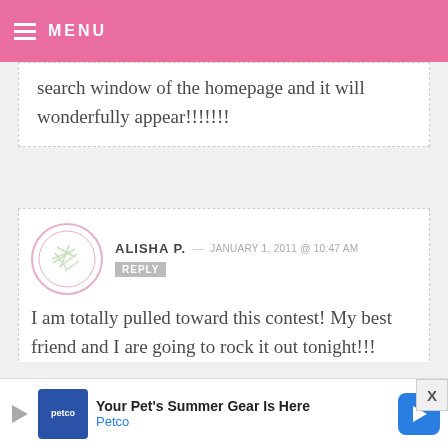MENU
search window of the homepage and it will wonderfully appear!!!!!!!
ALISHA P. — JANUARY 1, 2011 @ 10:47 AM REPLY
I am totally pulled toward this contest! My best friend and I are going to rock it out tonight!!! Spatulas are ready!!!
SARAH — JANUARY 1, 2011 @ 10:11 AM REPLY
[Figure (other): Petco advertisement banner: Your Pet's Summer Gear Is Here - Petco]